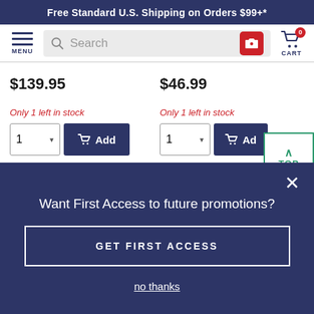Free Standard U.S. Shipping on Orders $99+*
MENU | Search | CART 0
$139.95
$46.99
Only 1 left in stock
Only 1 left in stock
1  Add
1  Ad
TOP
Want First Access to future promotions?
GET FIRST ACCESS
no thanks